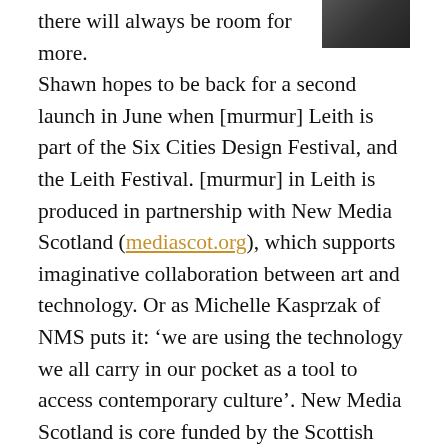[Figure (photo): Partial photo of a person, dark tones, top-right corner of the page]
there will always be room for more. Shawn hopes to be back for a second launch in June when [murmur] Leith is part of the Six Cities Design Festival, and the Leith Festival. [murmur] in Leith is produced in partnership with New Media Scotland (mediascot.org), which supports imaginative collaboration between art and technology. Or as Michelle Kasprzak of NMS puts it: ‘we are using the technology we all carry in our pocket as a tool to access contemporary culture’. New Media Scotland is core funded by the Scottish Arts Council, and [murmur] in Leith is supported by the Heritage Lottery Fund and the Esmée Fairbairn Foundation.